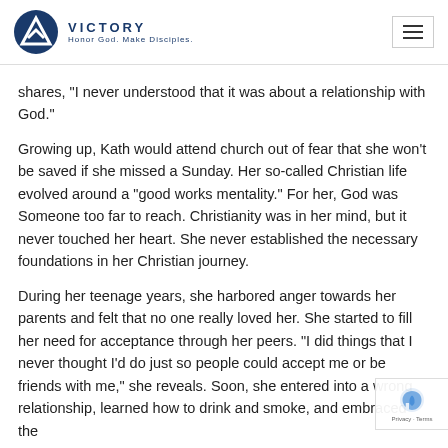VICTORY Honor God. Make Disciples.
shares, “I never understood that it was about a relationship with God.”
Growing up, Kath would attend church out of fear that she won’t be saved if she missed a Sunday. Her so-called Christian life evolved around a “good works mentality.” For her, God was Someone too far to reach. Christianity was in her mind, but it never touched her heart. She never established the necessary foundations in her Christian journey.
During her teenage years, she harbored anger towards her parents and felt that no one really loved her. She started to fill her need for acceptance through her peers. “I did things that I never thought I’d do just so people could accept me or be friends with me,” she reveals. Soon, she entered into a wrong relationship, learned how to drink and smoke, and embraced the